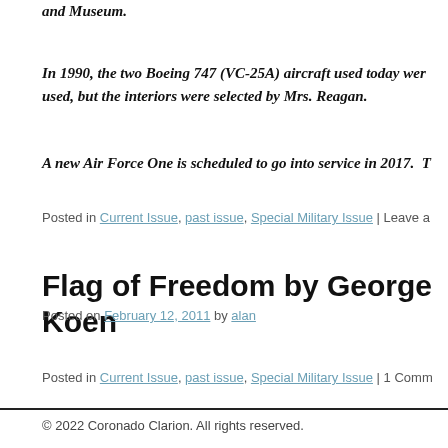and Museum.
In 1990, the two Boeing 747 (VC-25A) aircraft used today wer used, but the interiors were selected by Mrs. Reagan.
A new Air Force One is scheduled to go into service in 2017. T
Posted in Current Issue, past issue, Special Military Issue | Leave a
Flag of Freedom by George Koen
Posted on February 12, 2011 by alan
Posted in Current Issue, past issue, Special Military Issue | 1 Comm
© 2022 Coronado Clarion. All rights reserved.